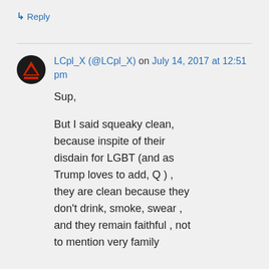↳ Reply
LCpl_X (@LCpl_X) on July 14, 2017 at 12:51 pm
Sup,

But I said squeaky clean, because inspite of their disdain for LGBT (and as Trump loves to add, Q ) , they are clean because they don't drink, smoke, swear , and they remain faithful , not to mention very family